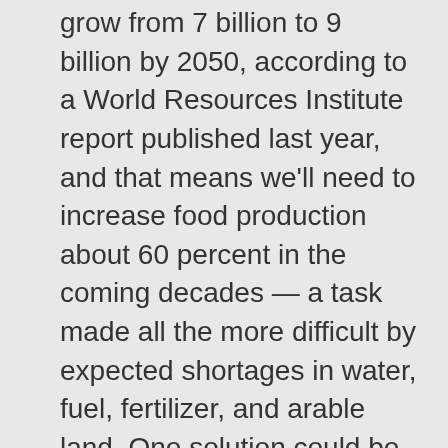The world's population is expected to grow from 7 billion to 9 billion by 2050, according to a World Resources Institute report published last year, and that means we'll need to increase food production about 60 percent in the coming decades — a task made all the more difficult by expected shortages in water, fuel, fertilizer, and arable land. One solution could be entomophagy. Last year, the Food and Agriculture Organization of the United Nations suggested that insects could be an increasingly important and sustainable food source in the future, and Imrie-Situnayake agrees. Insects are high in